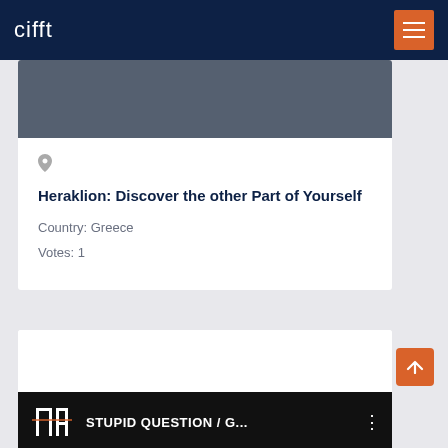cifft
[Figure (screenshot): Website screenshot showing a card with location pin icon, title 'Heraklion: Discover the other Part of Yourself', Country: Greece, Votes: 1]
Heraklion: Discover the other Part of Yourself
Country: Greece
Votes: 1
[Figure (screenshot): Bottom card showing a video thumbnail with MADE logo and title 'STUPID QUESTION / G...']